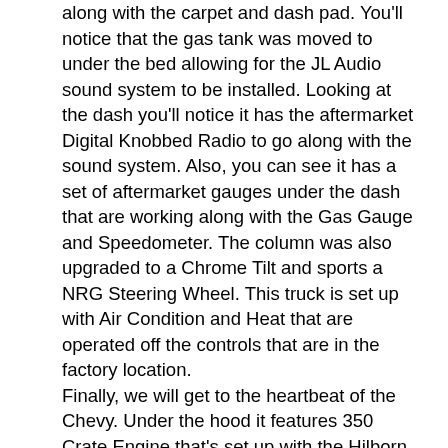along with the carpet and dash pad. You'll notice that the gas tank was moved to under the bed allowing for the JL Audio sound system to be installed. Looking at the dash you'll notice it has the aftermarket Digital Knobbed Radio to go along with the sound system. Also, you can see it has a set of aftermarket gauges under the dash that are working along with the Gas Gauge and Speedometer. The column was also upgraded to a Chrome Tilt and sports a NRG Steering Wheel. This truck is set up with Air Condition and Heat that are operated off the controls that are in the factory location. Finally, we will get to the heartbeat of the Chevy. Under the hood it features 350 Crate Engine that's set up with the Hilborn Style Down Draft EFI Intake. It runs off the Fast EZ 2.0 Controller with the frame mounted Fuel Pump and the controls are in the glove box. That's not the only upgrade, as it also sports a Billet Specialties Serpentine Front Runner system with the Polished AC Compressor, Alternator, and Power Steering Pump. It also has a set of Polished valve covers to pull the look together. The cooling system was upgraded to an Aluminum Water Pump and Radiator with Dual Fans. The 350 engine is mated to the 350 Turbo trans and 12 Bolt Rear End. For exhaust it has coated Headers with 2" pipes and